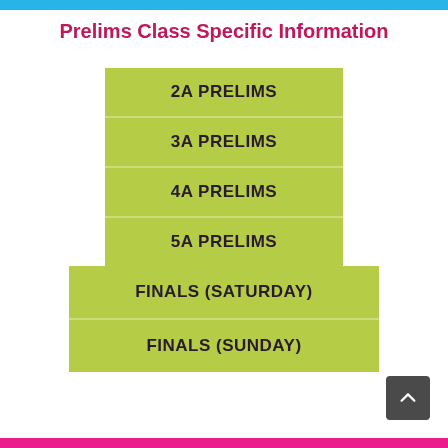Prelims Class Specific Information
2A PRELIMS
3A PRELIMS
4A PRELIMS
5A PRELIMS
FINALS (SATURDAY)
FINALS (SUNDAY)